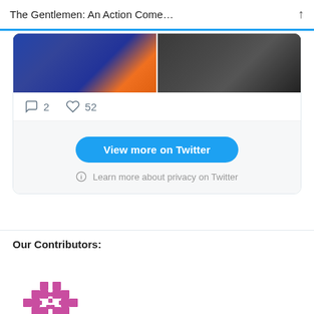The Gentlemen: An Action Come... ↑
[Figure (screenshot): Two side-by-side photos inside a Twitter embed card. Left photo shows colorful merchandise/toys. Right photo shows a person with merchandise in the background.]
2  52
View more on Twitter
ⓘ Learn more about privacy on Twitter
Our Contributors:
[Figure (logo): Decorative geometric/pixel-art logo in pink/magenta color, resembling a symmetrical cross or snowflake pattern.]